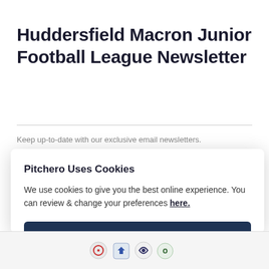Huddersfield Macron Junior Football League Newsletter
Keep up-to-date with our exclusive email newsletters.
Pitchero Uses Cookies
We use cookies to give you the best online experience. You can review & change your preferences here.
Accept all
Reject all